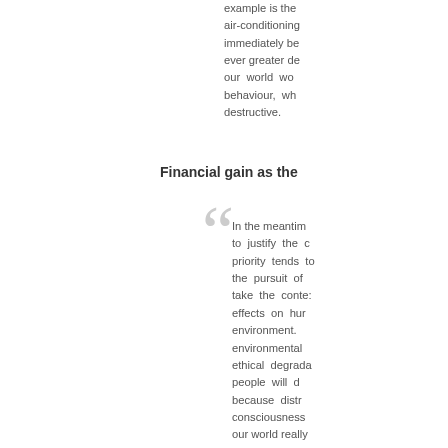example is the air-conditioning immediately be ever greater de our world wo behaviour, wh destructive.
Financial gain as the
In the meantim to justify the c priority tends to the pursuit of take the conte effects on hur environment. environmental ethical degrada people will d because distr consciousness our world really